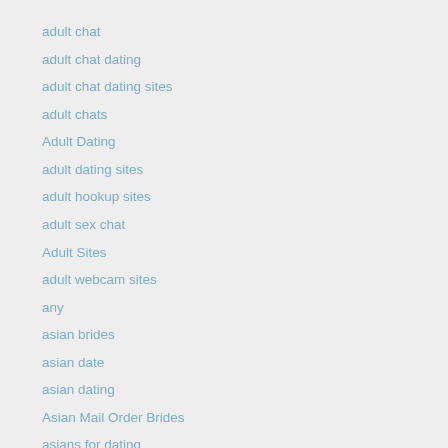adult chat
adult chat dating
adult chat dating sites
adult chats
Adult Dating
adult dating sites
adult hookup sites
adult sex chat
Adult Sites
adult webcam sites
any
asian brides
asian date
asian dating
Asian Mail Order Brides
asians for dating
asking
australia
Beautiful Brides
Best Country To Meet A Wife